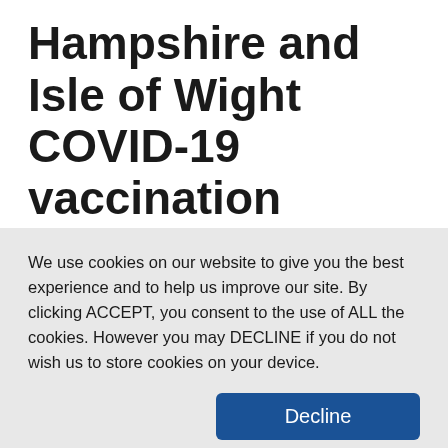Hampshire and Isle of Wight COVID-19 vaccination programme
On 24 February 2022 all domestic COVID-19 restrictions lifted
We use cookies on our website to give you the best experience and to help us improve our site. By clicking ACCEPT, you consent to the use of ALL the cookies. However you may DECLINE if you do not wish us to store cookies on your device.
View Cookie privacy information